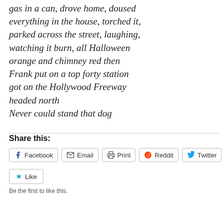gas in a can, drove home, doused everything in the house, torched it, parked across the street, laughing, watching it burn, all Halloween orange and chimney red then Frank put on a top forty station got on the Hollywood Freeway headed north Never could stand that dog
Share this:
Facebook  Email  Print  Reddit  Twitter
Like
Be the first to like this.